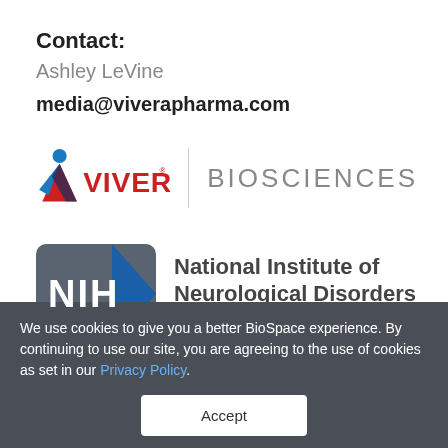Contact:
Ashley LeVine
media@viverapharma.com
[Figure (logo): Vivera Biosciences logo with red and blue figure icon, red VIVERA text, vertical divider, and gray BIOSCIENCES text]
[Figure (logo): NIH logo with gray rounded rectangle containing NIH text and blue arrow chevron, next to National Institute of Neurological Disorders text]
We use cookies to give you a better BioSpace experience. By continuing to use our site, you are agreeing to the use of cookies as set in our Privacy Policy.
Accept